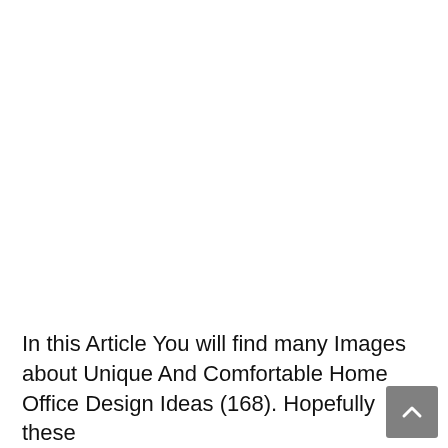In this Article You will find many Images about Unique And Comfortable Home Office Design Ideas (168). Hopefully these